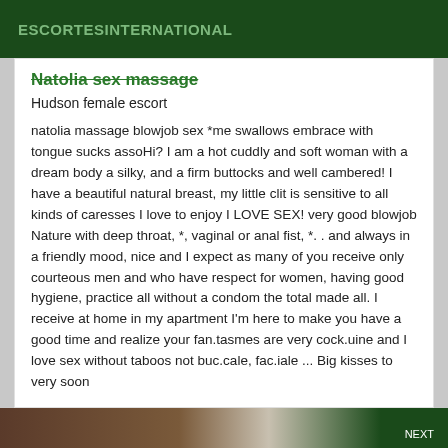ESCORTESINTERNATIONAL
Natolia sex massage
Hudson female escort
natolia massage blowjob sex *me swallows embrace with tongue sucks assoHi? I am a hot cuddly and soft woman with a dream body a silky, and a firm buttocks and well cambered! I have a beautiful natural breast, my little clit is sensitive to all kinds of caresses I love to enjoy I LOVE SEX! very good blowjob Nature with deep throat, *, vaginal or anal fist, *. . and always in a friendly mood, nice and I expect as many of you receive only courteous men and who have respect for women, having good hygiene, practice all without a condom the total made all. I receive at home in my apartment I'm here to make you have a good time and realize your fan.tasmes are very cock.uine and I love sex without taboos not buc.cale, fac.iale ... Big kisses to very soon
[Figure (photo): Bottom partial image strip showing a blurred photo and a dark green section with a button]